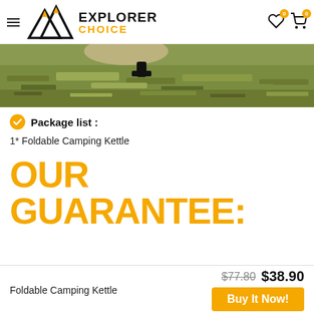Explorer Choice — navigation header with logo, hamburger menu, wishlist and cart icons
[Figure (photo): Close-up photo of grass/ground with part of a camping kettle visible at top, serving as a product hero image strip]
Package list :
1* Foldable Camping Kettle
OUR GUARANTEE:
Foldable Camping Kettle
$77.80  $38.90
Buy It Now!